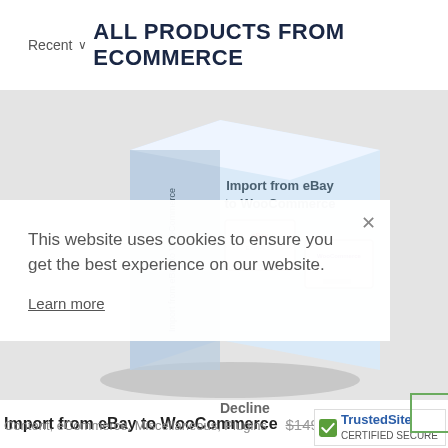Recent ∨ ALL PRODUCTS FROM ECOMMERCE
[Figure (screenshot): Product box image for 'Import from eBay to WooCommerce' plugin showing a 3D software box with computer monitors displaying eBay and WooCommerce logos]
This website uses cookies to ensure you get the best experience on our website.
Learn more
Import from eBay to WooCommerce
Decline
Accept $149,00 $5,00
Content, eCommerce, Miscellaneous, Plugins
[Figure (logo): TrustedSite certified secure badge with checkmark logo]